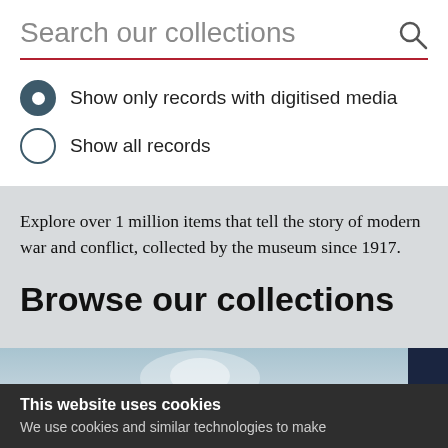Search our collections
Show only records with digitised media
Show all records
Explore over 1 million items that tell the story of modern war and conflict, collected by the museum since 1917.
Browse our collections
[Figure (photo): Partial view of an image showing a pale blue-gray sky with a light starburst or explosion effect, with a dark navy element at the far right edge.]
This website uses cookies
We use cookies and similar technologies to make